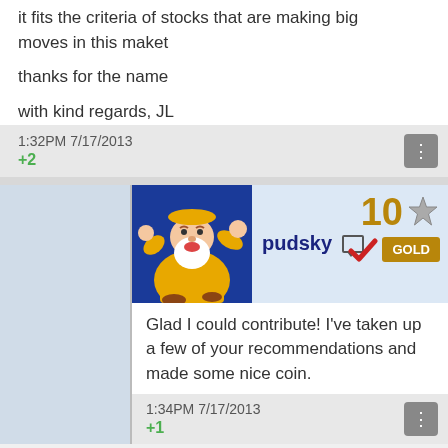it fits the criteria of stocks that are making big moves in this maket

thanks for the name

with kind regards, JL
1:32PM 7/17/2013
+2
[Figure (screenshot): User profile header for 'pudsky' with cartoon wizard avatar, rank 10 star badge, gold checkmark, and GOLD badge]
Glad I could contribute! I've taken up a few of your recommendations and made some nice coin.
1:34PM 7/17/2013
+1